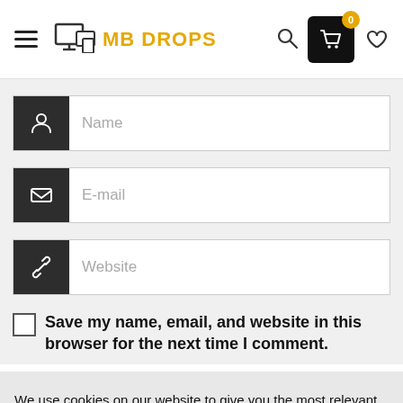MB DROPS
Name
E-mail
Website
Save my name, email, and website in this browser for the next time I comment.
We use cookies on our website to give you the most relevant experience by remembering your preferences and repeat visits.
Cookie Settings
Accept All